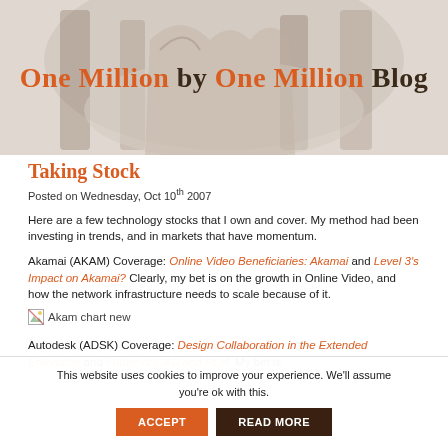One Million by One Million Blog
Taking Stock
Posted on Wednesday, Oct 10th 2007
Here are a few technology stocks that I own and cover. My method had been investing in trends, and in markets that have momentum.
Akamai (AKAM) Coverage: Online Video Beneficiaries: Akamai and Level 3's Impact on Akamai? Clearly, my bet is on the growth in Online Video, and how the network infrastructure needs to scale because of it.
[Figure (other): Akam chart new - image placeholder with broken image icon]
Autodesk (ADSK) Coverage: Design Collaboration in the Extended Enterprise and Future of CAD and PLM. My bet is
This website uses cookies to improve your experience. We'll assume you're ok with this.